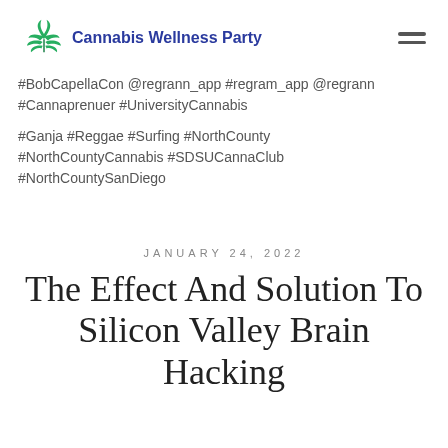Cannabis Wellness Party
#BobCapellaCon @regrann_app #regram_app @regrann #Cannaprenuer #UniversityCannabis
#Ganja #Reggae #Surfing #NorthCounty #NorthCountyCannabis #SDSUCannaClub #NorthCountySanDiego
JANUARY 24, 2022
The Effect And Solution To Silicon Valley Brain Hacking